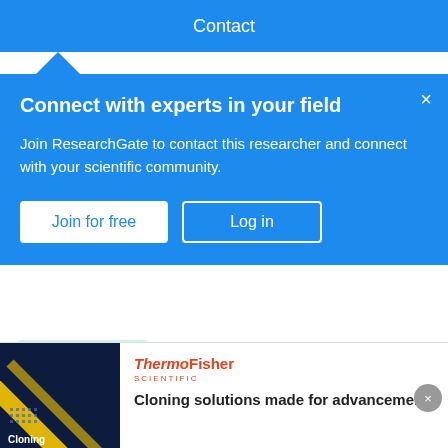Contact
Connect with experts in your field
Join ResearchGate to contact this researcher and connect with your scientific community.
Join for free
Log in
Conference Paper
Oct 2016
Mohamed Daoudi · Maxime Devanne · Francois Quesque · Yann Coello
In this paper, we propose to analyze the kinematic of human arm to predict social intention (personal vs. social intention). We
[Figure (screenshot): Advertisement for ThermoFisher Scientific showing a dark blue background with yellow diagonal lines and the word 'Cloning'. Text reads: 'Cloning solutions made for advancement']